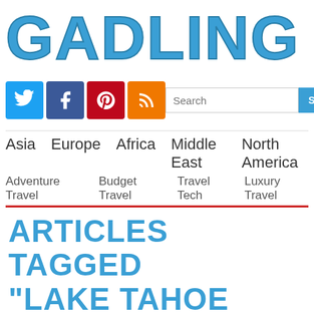GADLING
[Figure (logo): Social media icons: Twitter (blue), Facebook (dark blue), Pinterest (red), RSS (orange)]
Search SEARCH
Asia  Europe  Africa  Middle East  North America  Adventure Travel  Budget Travel  Travel Tech  Luxury Travel
ARTICLES TAGGED "LAKE TAHOE FACTS"
40 DAYS, 40 STATES: LAKE TAHOE